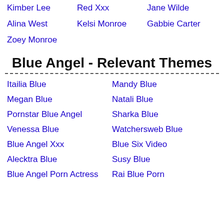Kimber Lee
Red Xxx
Jane Wilde
Alina West
Kelsi Monroe
Gabbie Carter
Zoey Monroe
Blue Angel - Relevant Themes
Itailia Blue
Mandy Blue
Megan Blue
Natali Blue
Pornstar Blue Angel
Sharka Blue
Venessa Blue
Watchersweb Blue
Blue Angel Xxx
Blue Six Video
Alecktra Blue
Susy Blue
Blue Angel Porn Actress
Rai Blue Porn